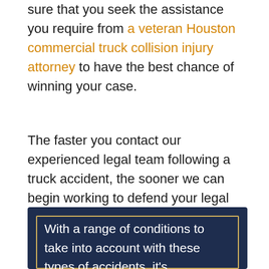sure that you seek the assistance you require from a veteran Houston commercial truck collision injury attorney to have the best chance of winning your case.
The faster you contact our experienced legal team following a truck accident, the sooner we can begin working to defend your legal rights. In most cases, the neglectful trucking company will attempt to hide their liability for the crash by getting rid of any evidence. The faster we can begin our examination into the reason of an accident, the better.
With a range of conditions to take into account with these types of accidents, it's reasonable if you're not sure how to proceed. Please know that we provide a FREE case review, 24 hours a day, 7